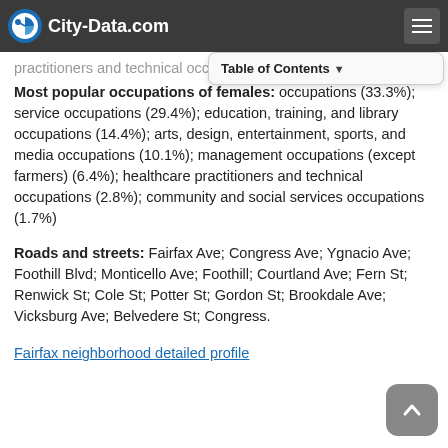City-Data.com
practitioners and technical occupations (7.9%)
Most popular occupations of females: occupations (33.3%); service occupations (29.4%); education, training, and library occupations (14.4%); arts, design, entertainment, sports, and media occupations (10.1%); management occupations (except farmers) (6.4%); healthcare practitioners and technical occupations (2.8%); community and social services occupations (1.7%)
Roads and streets: Fairfax Ave; Congress Ave; Ygnacio Ave; Foothill Blvd; Monticello Ave; Foothill; Courtland Ave; Fern St; Renwick St; Cole St; Potter St; Gordon St; Brookdale Ave; Vicksburg Ave; Belvedere St; Congress.
Fairfax neighborhood detailed profile